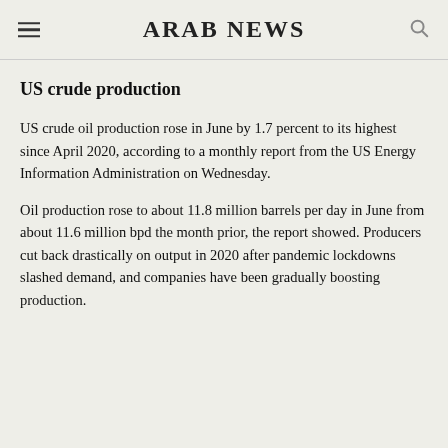ARAB NEWS
US crude production
US crude oil production rose in June by 1.7 percent to its highest since April 2020, according to a monthly report from the US Energy Information Administration on Wednesday.
Oil production rose to about 11.8 million barrels per day in June from about 11.6 million bpd the month prior, the report showed. Producers cut back drastically on output in 2020 after pandemic lockdowns slashed demand, and companies have been gradually boosting production.